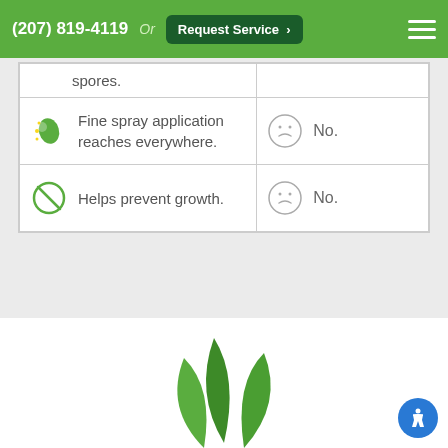(207) 819-4119  Or  Request Service >
| Feature | Result |
| --- | --- |
| spores. |  |
| Fine spray application reaches everywhere. | No. |
| Helps prevent growth. | No. |
[Figure (illustration): Green plant leaves illustration at the bottom of the page]